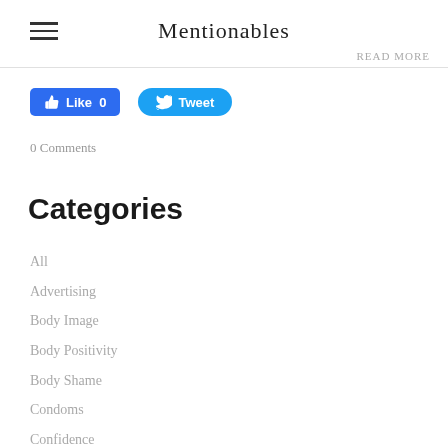Mentionables
read more
[Figure (screenshot): Facebook Like button showing Like 0]
[Figure (screenshot): Twitter Tweet button]
0 Comments
Categories
All
Advertising
Body Image
Body Positivity
Body Shame
Condoms
Confidence
Consent
Dancing
Free Healthcare